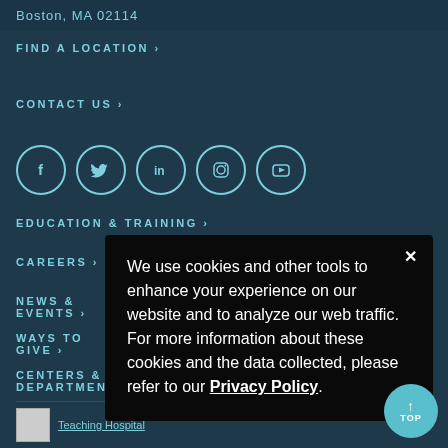Boston, MA 02114
FIND A LOCATION ›
CONTACT US ›
[Figure (illustration): Social media icons in circles: Facebook (f), Twitter (bird), LinkedIn (in), Instagram (camera), YouTube (play button)]
EDUCATION & TRAINING ›
CAREERS ›
NEWS & EVENTS ›
WAYS TO GIVE ›
CENTERS & DEPARTMENTS ›
We use cookies and other tools to enhance your experience on our website and to analyze our web traffic. For more information about these cookies and the data collected, please refer to our Privacy Policy.
Teaching Hospital